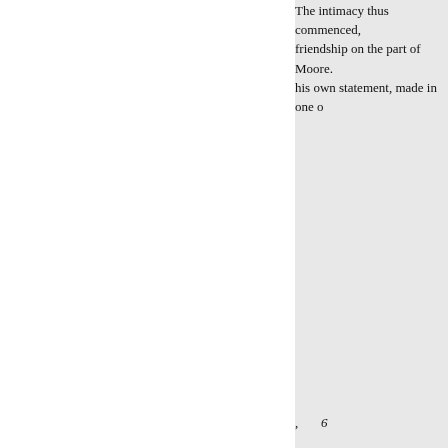The intimacy thus commenced, friendship on the part of Moore. his own statement, made in one o
6
6
was almost incapable of friendsh known from infancy, and perhaps lord,' was Byron's sneering expre regard for himself to be chiefly b
Moore had before this married a moreover distinguished for consi more than once proved of essenti we have before stated, has darke
Two political satires, called “Co Sceptic,' described as a philosop